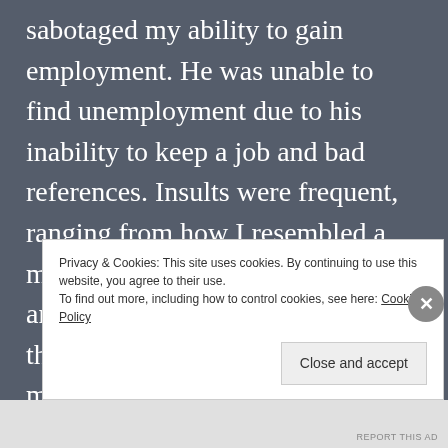sabotaged my ability to gain employment. He was unable to find unemployment due to his inability to keep a job and bad references. Insults were frequent, ranging from how I resembled a man because of my toned body and that I was not as pretty as I thought. He made sure to inform me that the mothers of his children were very beautiful women.
Privacy & Cookies: This site uses cookies. By continuing to use this website, you agree to their use. To find out more, including how to control cookies, see here: Cookie Policy
Close and accept